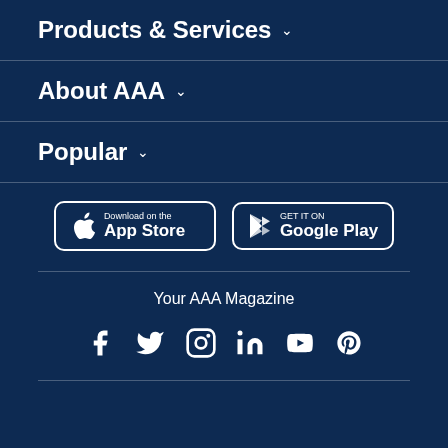Products & Services ▾
About AAA ▾
Popular ▾
[Figure (other): Download on the App Store button and GET IT ON Google Play button]
Your AAA Magazine
[Figure (other): Social media icons: Facebook, Twitter, Instagram, LinkedIn, YouTube, Pinterest]